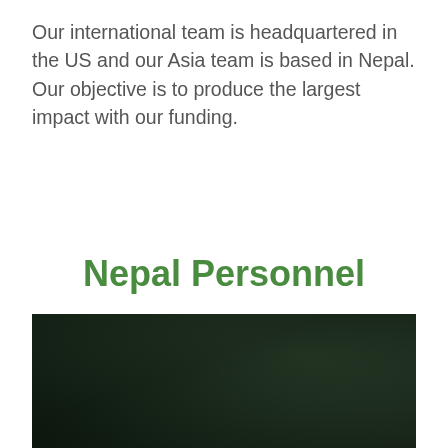Our international team is headquartered in the US and our Asia team is based in Nepal. Our objective is to produce the largest impact with our funding.
Nepal Personnel
[Figure (photo): A dark, dimly lit outdoor photo showing foliage and people in a shadowy environment, predominantly dark green and black tones.]